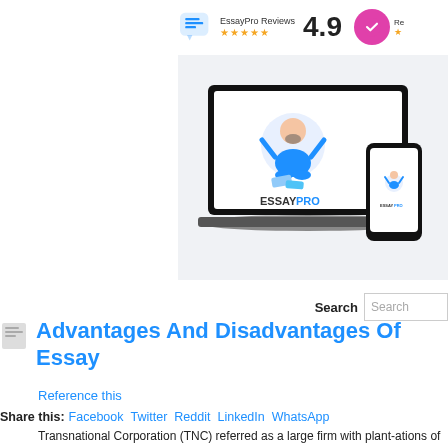EssayPro Reviews  4.9  ★★★★★
[Figure (illustration): EssayPro laptop and phone mockup showing a cartoon illustration of a bearded man in blue sweater sitting cross-legged with raised arms, surrounded by papers and books; ESSAYPRO text below on laptop screen; smaller version on phone screen]
Search
Advantages And Disadvantages Of Essay
Reference this
Share this: Facebook  Twitter  Reddit  LinkedIn  WhatsApp
Transnational Corporation (TNC) referred as a large firm with plant-ations of production division on other country to its it...